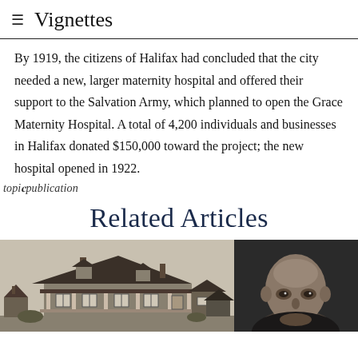≡  Vignettes
By 1919, the citizens of Halifax had concluded that the city needed a new, larger maternity hospital and offered their support to the Salvation Army, which planned to open the Grace Maternity Hospital. A total of 4,200 individuals and businesses in Halifax donated $150,000 toward the project; the new hospital opened in 1922.
topicpublication
Related Articles
[Figure (photo): Black and white photograph of a historic house/building with a wraparound porch]
[Figure (photo): Black and white portrait photograph of a bald man]